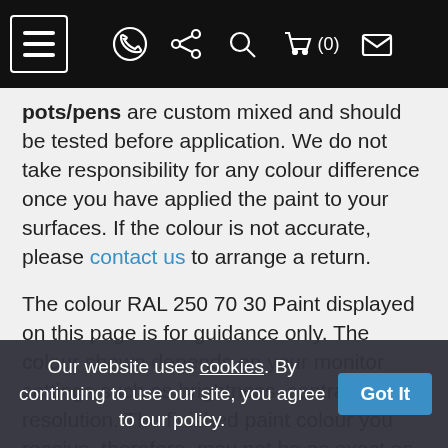[Navigation bar with hamburger menu, WhatsApp icon, share icon, search icon, cart (0), and envelope icon]
pots/pens are custom mixed and should be tested before application. We do not take responsibility for any colour difference once you have applied the paint to your surfaces. If the colour is not accurate, please contact us to arrange a return.
The colour RAL 250 70 30 Paint displayed on this page is for guidance only. The colour shown depends on your monitor settings such as brightness, contrast and resolution. The finished paint colour you receive, therefore, may not be as exact as depicted on a screen. Some colours may vary upto 20% compared whats displayed on a screen due to this reason.
Our website uses cookies. By continuing to use our site, you agree to our policy. Got It